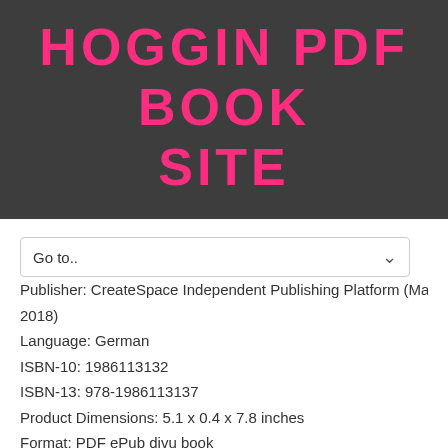HOGGIN PDF BOOK SITE
Go to..
Publisher: CreateSpace Independent Publishing Platform (March 1, 2018)
Language: German
ISBN-10: 1986113132
ISBN-13: 978-1986113137
Product Dimensions: 5.1 x 0.4 x 7.8 inches
Format: PDF ePub djvu book
Download Link
Mirror